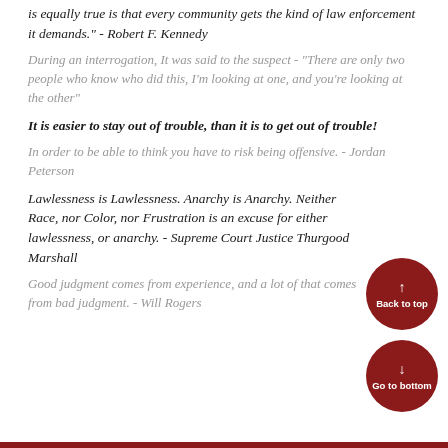is equally true is that every community gets the kind of law enforcement it demands." - Robert F. Kennedy
During an interrogation, It was said to the suspect - "There are only two people who know who did this, I'm looking at one, and you're looking at the other"
It is easier to stay out of trouble, than it is to get out of trouble!
In order to be able to think you have to risk being offensive. - Jordan Peterson
Lawlessness is Lawlessness. Anarchy is Anarchy. Neither Race, nor Color, nor Frustration is an excuse for either lawlessness, or anarchy. - Supreme Court Justice Thurgood Marshall
Good judgment comes from experience, and a lot of that comes from bad judgment. - Will Rogers
[Figure (other): Back to top button - dark red circular button with up arrow]
[Figure (other): Go to bottom button - dark red circular button with down arrow]